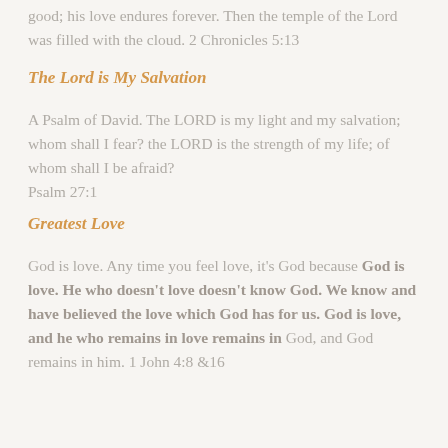good; his love endures forever. Then the temple of the Lord was filled with the cloud. 2 Chronicles 5:13
The Lord is My Salvation
A Psalm of David. The LORD is my light and my salvation; whom shall I fear? the LORD is the strength of my life; of whom shall I be afraid? Psalm 27:1
Greatest Love
God is love. Any time you feel love, it's God because God is love. He who doesn't love doesn't know God. We know and have believed the love which God has for us. God is love, and he who remains in love remains in God, and God remains in him. 1 John 4:8 &16